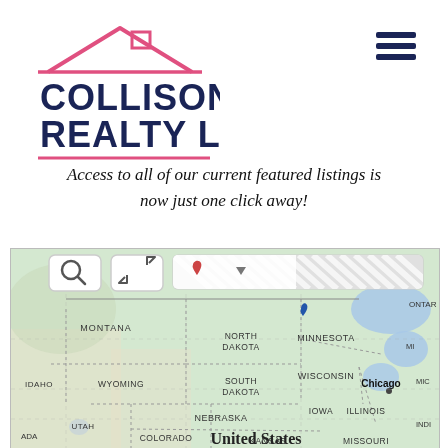[Figure (logo): Collison Realty LLC logo — pink house roofline above bold dark navy text reading COLLISON REALTY LLC, with a pink underline]
[Figure (other): Hamburger menu icon — three dark navy horizontal bars]
Access to all of our current featured listings is now just one click away!
[Figure (map): Interactive map of the north-central United States showing states including Montana, North Dakota, Minnesota, South Dakota, Wisconsin, Idaho, Wyoming, Nebraska, Iowa, Illinois, Utah, Colorado, Kansas, Missouri, and label for United States. Map includes a search bar, zoom button, and striped search input at top. Cities labeled include Chicago. Also shows portions of Ontario (Canada) and Great Lakes region.]